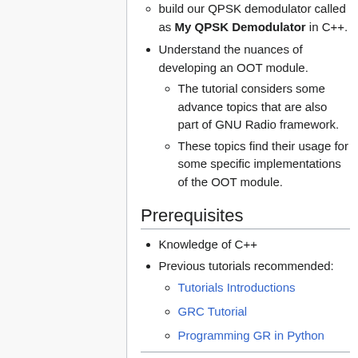build our QPSK demodulator called as My QPSK Demodulator in C++.
Understand the nuances of developing an OOT module.
The tutorial considers some advance topics that are also part of GNU Radio framework.
These topics find their usage for some specific implementations of the OOT module.
Prerequisites
Knowledge of C++
Previous tutorials recommended:
Tutorials Introductions
GRC Tutorial
Programming GR in Python